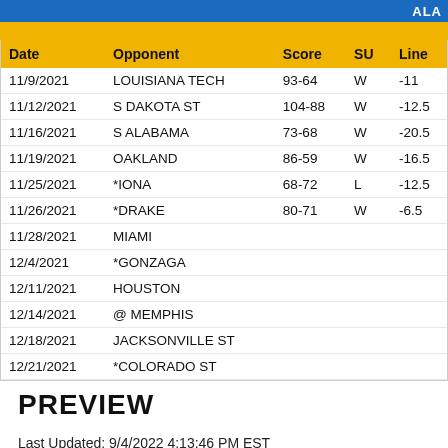ALA
| Date | Opponent | Score | SU | Line |
| --- | --- | --- | --- | --- |
| 11/9/2021 | LOUISIANA TECH | 93-64 | W | -11 |
| 11/12/2021 | S DAKOTA ST | 104-88 | W | -12.5 |
| 11/16/2021 | S ALABAMA | 73-68 | W | -20.5 |
| 11/19/2021 | OAKLAND | 86-59 | W | -16.5 |
| 11/25/2021 | *IONA | 68-72 | L | -12.5 |
| 11/26/2021 | *DRAKE | 80-71 | W | -6.5 |
| 11/28/2021 | MIAMI |  |  |  |
| 12/4/2021 | *GONZAGA |  |  |  |
| 12/11/2021 | HOUSTON |  |  |  |
| 12/14/2021 | @ MEMPHIS |  |  |  |
| 12/18/2021 | JACKSONVILLE ST |  |  |  |
| 12/21/2021 | *COLORADO ST |  |  |  |
PREVIEW
Last Updated: 9/4/2022 4:13:46 PM EST
You are viewing a condensed version of this FoxSh Not a member? Subscribe today and start takin